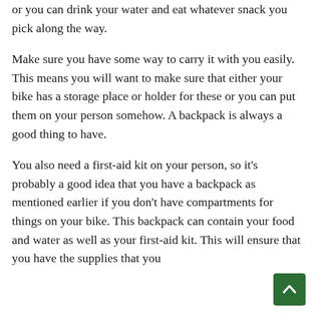or you can drink your water and eat whatever snack you pick along the way.
Make sure you have some way to carry it with you easily. This means you will want to make sure that either your bike has a storage place or holder for these or you can put them on your person somehow. A backpack is always a good thing to have.
You also need a first-aid kit on your person, so it's probably a good idea that you have a backpack as mentioned earlier if you don't have compartments for things on your bike. This backpack can contain your food and water as well as your first-aid kit. This will ensure that you have the supplies that you